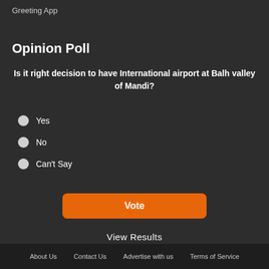Greeting App
Opinion Poll
Is it right decision to have International airport at Balh valley of Mandi?
Yes
No
Can't Say
Vote
View Results
About Us   Contact Us   Advertise with us   Terms of Service